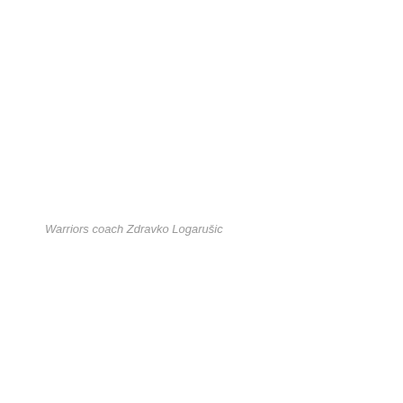Warriors coach Zdravko Logarušic